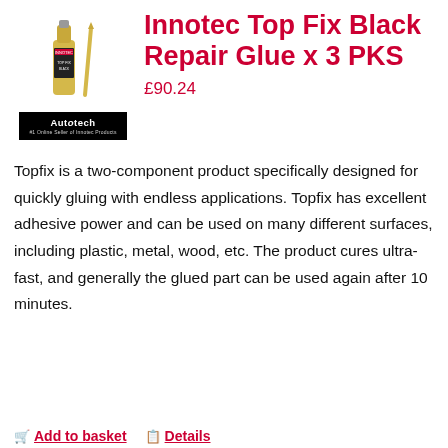[Figure (photo): Product photo showing Innotec Top Fix Black Repair Glue bottle and applicator nozzle, with Autotech logo below (black background, '#1 Online Seller of Innotec Products')]
Innotec Top Fix Black Repair Glue x 3 PKS
£90.24
Topfix is a two-component product specifically designed for quickly gluing with endless applications. Topfix has excellent adhesive power and can be used on many different surfaces, including plastic, metal, wood, etc. The product cures ultra-fast, and generally the glued part can be used again after 10 minutes.
Add to basket   Details